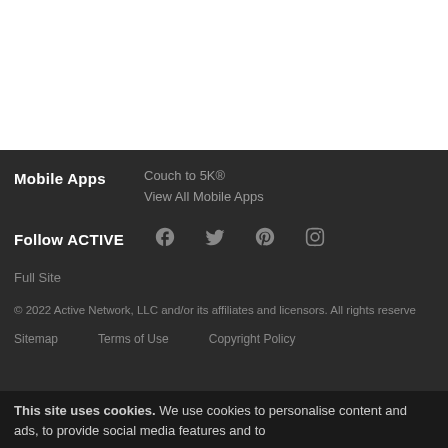Mobile Apps
Couch to 5K®
View All Mobile Apps
Follow ACTIVE
[Figure (other): Social media icons: Facebook, Twitter, Pinterest, Instagram]
Full Site
© 2022 Active Network, LLC and/or its affiliates and licensors. All rights reserved.
Sitemap   Terms of Use   Copyright Policy
This site uses cookies. We use cookies to personalise content and ads, to provide social media features and to